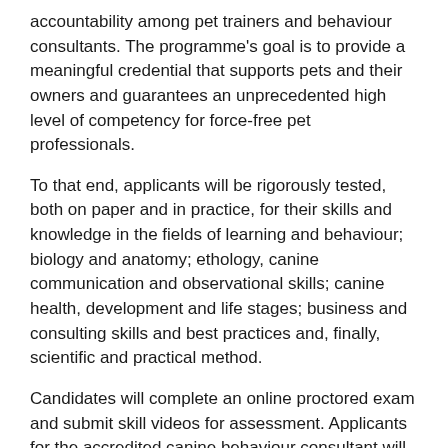accountability among pet trainers and behaviour consultants. The programme's goal is to provide a meaningful credential that supports pets and their owners and guarantees an unprecedented high level of competency for force-free pet professionals.
To that end, applicants will be rigorously tested, both on paper and in practice, for their skills and knowledge in the fields of learning and behaviour; biology and anatomy; ethology, canine communication and observational skills; canine health, development and life stages; business and consulting skills and best practices and, finally, scientific and practical method.
Candidates will complete an online proctored exam and submit skill videos for assessment. Applicants for the accredited canine behaviour consultant will also complete and submit individual case studies